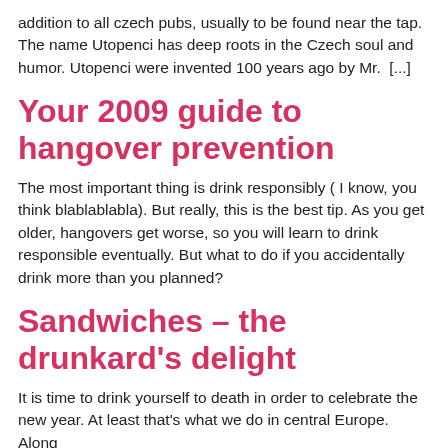addition to all czech pubs, usually to be found near the tap. The name Utopenci has deep roots in the Czech soul and humor. Utopenci were invented 100 years ago by Mr.  [...]
Your 2009 guide to hangover prevention
The most important thing is drink responsibly ( I know, you think blablablabla). But really, this is the best tip. As you get older, hangovers get worse, so you will learn to drink responsible eventually. But what to do if you accidentally drink more than you planned?
Sandwiches – the drunkard's delight
It is time to drink yourself to death in order to celebrate the new year. At least that's what we do in central Europe. Along